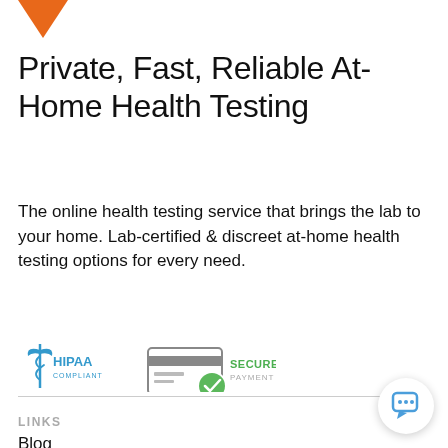[Figure (logo): Orange downward chevron/arrow logo at top left]
Private, Fast, Reliable At-Home Health Testing
The online health testing service that brings the lab to your home. Lab-certified & discreet at-home health testing options for every need.
[Figure (logo): HIPAA Compliant badge with caduceus symbol in blue]
[Figure (logo): Secure Payment badge with credit card and green checkmark]
LINKS
Blog
FAQ